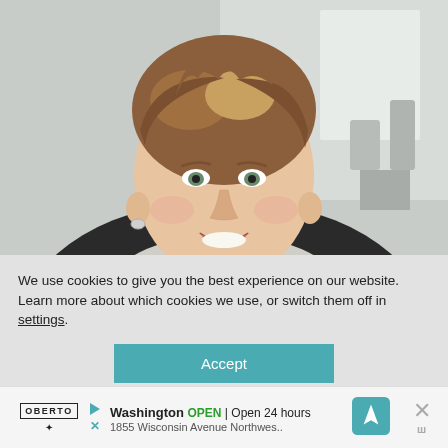[Figure (photo): Headshot photo of a smiling woman with short auburn/blonde hair, wearing a light gray scarf and dark jacket, against a blurred light background.]
We use cookies to give you the best experience on our website.
Learn more about which cookies we use, or switch them off in settings.
Accept
Washington OPEN | Open 24 hours  1855 Wisconsin Avenue Northwes..